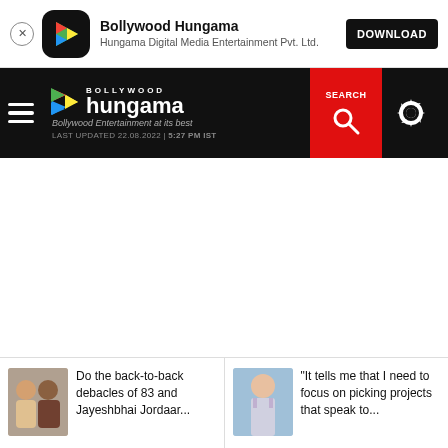[Figure (screenshot): App download banner for Bollywood Hungama app with icon, title, subtitle, and DOWNLOAD button]
[Figure (screenshot): Bollywood Hungama website navigation bar with hamburger menu, logo, search button, and settings icon. Shows LAST UPDATED 22.08.2022 | 5:27 PM IST]
[Figure (screenshot): News article thumbnail 1: Two male actors with headline 'Do the back-to-back debacles of 83 and Jayeshbhai Jordaar...']
[Figure (screenshot): News article thumbnail 2: Female actress with headline '"It tells me that I need to focus on picking projects that speak to...']